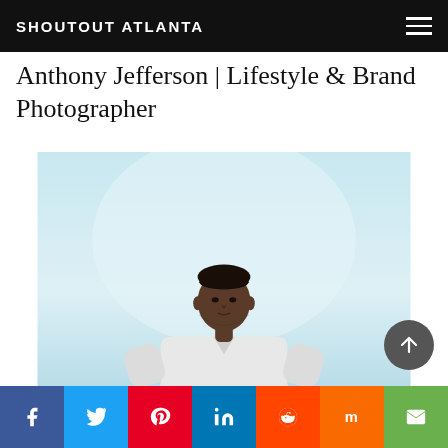SHOUTOUT ATLANTA
Anthony Jefferson | Lifestyle & Brand Photographer
[Figure (photo): Portrait of Anthony Jefferson, a man in a white shirt, photographed against a light blue-white gradient background, positioned in center-bottom of frame]
[Figure (infographic): Social sharing bar with icons for Facebook, Twitter, Pinterest, LinkedIn, Reddit, Mix, and Email]